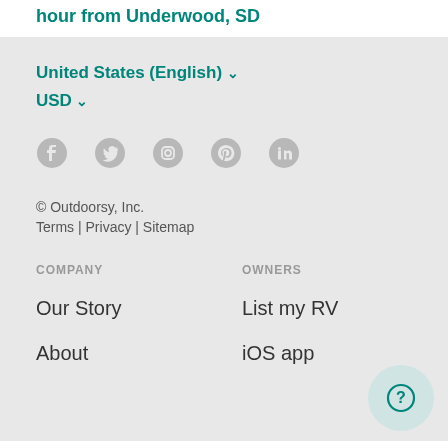hour from Underwood, SD
United States (English) ∨
USD ∨
[Figure (other): Social media icons: Facebook, Twitter, Instagram, Pinterest, LinkedIn]
© Outdoorsy, Inc.
Terms | Privacy | Sitemap
COMPANY
OWNERS
Our Story
List my RV
About
iOS app